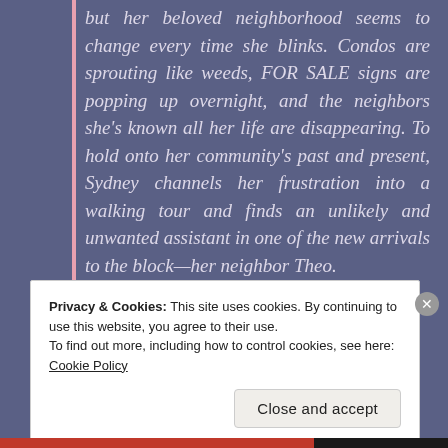but her beloved neighborhood seems to change every time she blinks. Condos are sprouting like weeds, FOR SALE signs are popping up overnight, and the neighbors she's known all her life are disappearing. To hold onto her community's past and present, Sydney channels her frustration into a walking tour and finds an unlikely and unwanted assistant in one of the new arrivals to the block—her neighbor Theo.
Privacy & Cookies: This site uses cookies. By continuing to use this website, you agree to their use.
To find out more, including how to control cookies, see here: Cookie Policy
Close and accept